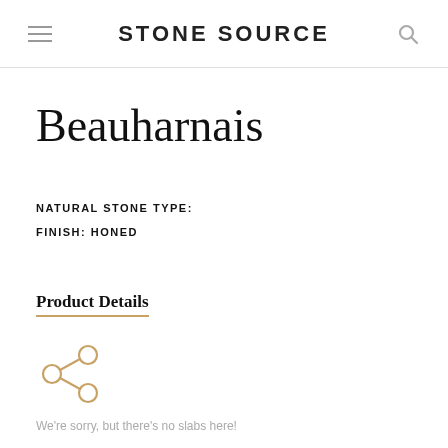STONE SOURCE
Beauharnais
NATURAL STONE TYPE:
FINISH: HONED
Product Details
[Figure (illustration): Share icon: three connected circles with lines forming a share/network symbol, rendered in gold/tan color]
We're sorry, but there's no slabs here!